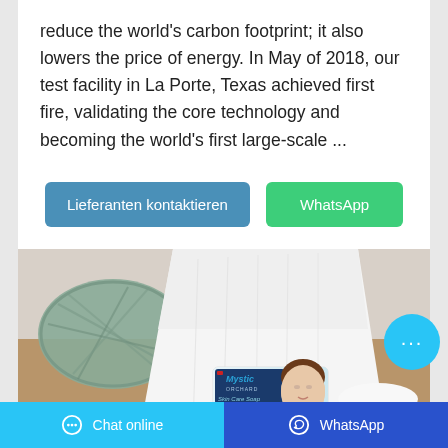reduce the world's carbon footprint; it also lowers the price of energy. In May of 2018, our test facility in La Porte, Texas achieved first fire, validating the core technology and becoming the world's first large-scale ...
Lieferanten kontaktieren
WhatsApp
[Figure (photo): Product photo showing a Mystic Orchard Skin Care Soap bar placed in front of rolled white towels and a woven basket, with a woman's face visible on the soap packaging.]
Chat online | WhatsApp